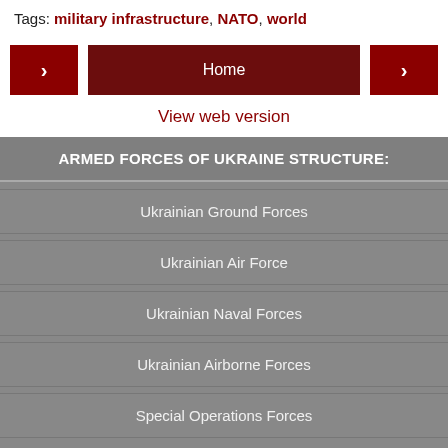Tags: military infrastructure, NATO, world
Home navigation buttons (< Home >)
View web version
| ARMED FORCES OF UKRAINE STRUCTURE: |
| --- |
| Ukrainian Ground Forces |
| Ukrainian Air Force |
| Ukrainian Naval Forces |
| Ukrainian Airborne Forces |
| Special Operations Forces |
| Weapons Systems Handbook |